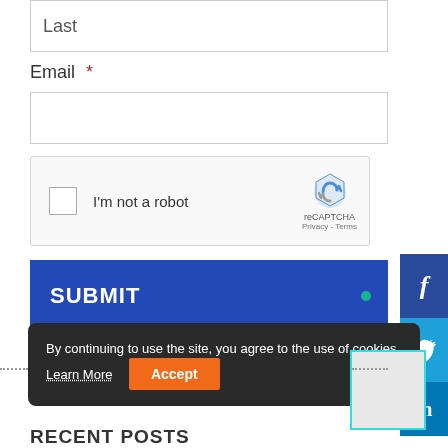Last
Email *
[Figure (screenshot): reCAPTCHA widget with checkbox, 'I'm not a robot' text, reCAPTCHA logo and Privacy/Terms links]
SUBMIT
[Figure (screenshot): Social media share buttons: Facebook (f), Twitter (bird), LinkedIn (in)]
By continuing to use the site, you agree to the use of cookies. Learn More Accept
RECENT POSTS